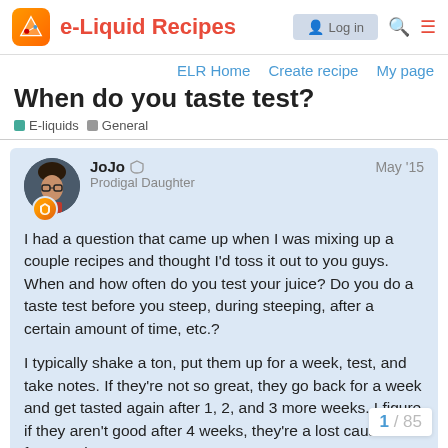e-Liquid Recipes
ELR Home   Create recipe   My page
When do you taste test?
E-liquids   General
JoJo  Prodigal Daughter  May '15
I had a question that came up when I was mixing up a couple recipes and thought I'd toss it out to you guys. When and how often do you test your juice? Do you do a taste test before you steep, during steeping, after a certain amount of time, etc.?

I typically shake a ton, put them up for a week, test, and take notes. If they're not so great, they go back for a week and get tasted again after 1, 2, and 3 more weeks. I figure if they aren't good after 4 weeks, they're a lost cause. As for steeping method, I don't ultrasonic, hot water/rice b... I just let time do its thing. I also don't drip...
1 / 85